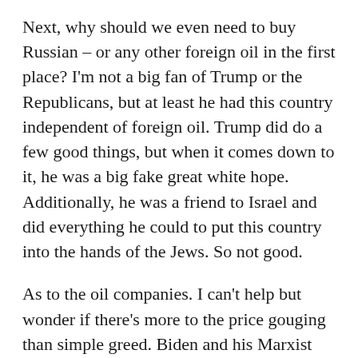Next, why should we even need to buy Russian – or any other foreign oil in the first place? I'm not a big fan of Trump or the Republicans, but at least he had this country independent of foreign oil. Trump did do a few good things, but when it comes down to it, he was a big fake great white hope. Additionally, he was a friend to Israel and did everything he could to put this country into the hands of the Jews. So not good.
As to the oil companies. I can't help but wonder if there's more to the price gouging than simple greed. Biden and his Marxist